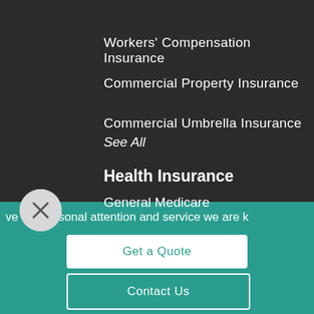Workers' Compensation Insurance
Commercial Property Insurance
Commercial Umbrella Insurance
See All
Health Insurance
General Medicare
ve the personal attention and service we are k
Get a Quote
Contact Us